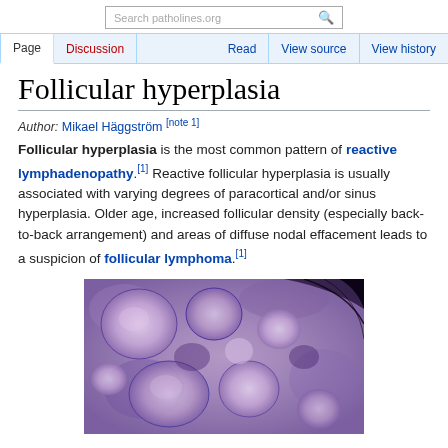Search patholines.org | Page | Discussion | Read | View source | View history
Follicular hyperplasia
Author: Mikael Häggström [note 1]
Follicular hyperplasia is the most common pattern of reactive lymphadenopathy.[1] Reactive follicular hyperplasia is usually associated with varying degrees of paracortical and/or sinus hyperplasia. Older age, increased follicular density (especially back-to-back arrangement) and areas of diffuse nodal effacement leads to a suspicion of follicular lymphoma.[1]
[Figure (photo): Histological microscopy image of follicular hyperplasia showing lymph node tissue with multiple follicles visible, stained in purple/violet hues (H&E stain).]